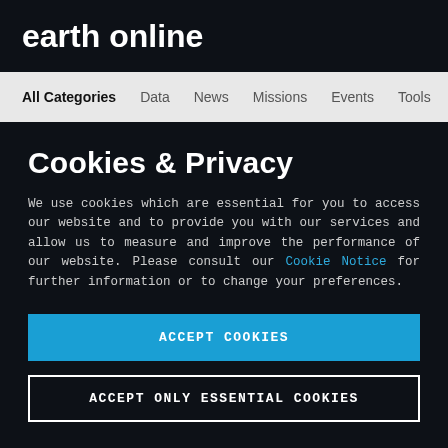earth online
All Categories   Data   News   Missions   Events   Tools   A
Cookies & Privacy
We use cookies which are essential for you to access our website and to provide you with our services and allow us to measure and improve the performance of our website. Please consult our Cookie Notice for further information or to change your preferences.
ACCEPT COOKIES
ACCEPT ONLY ESSENTIAL COOKIES